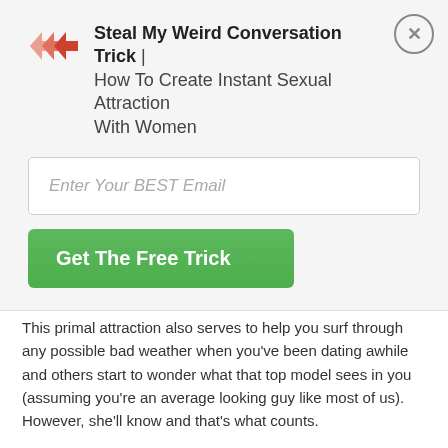Steal My Weird Conversation Trick | How To Create Instant Sexual Attraction With Women
[Figure (other): Email opt-in form with input field labeled 'Enter Your BEST Email' and green button 'Get The Free Trick']
This primal attraction also serves to help you surf through any possible bad weather when you've been dating awhile and others start to wonder what that top model sees in you (assuming you're an average looking guy like most of us). However, she'll know and that's what counts.
Get Women Facts:
1. Be a protector. Realize that if you can convince a woman to let